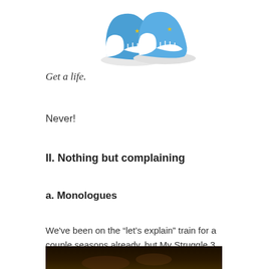[Figure (illustration): Two blue sneakers/shoes illustration at the top of the page]
Get a life.
Never!
II. Nothing but complaining
a. Monologues
We've been on the “let’s explain” train for a couple seasons already, but My Struggle 3 reached new heights of soliloquy. Now on top of all the conversational exposition (e.g., between Monica and CSM) —
[Figure (photo): Dark photo strip at the bottom showing a dimly lit scene]